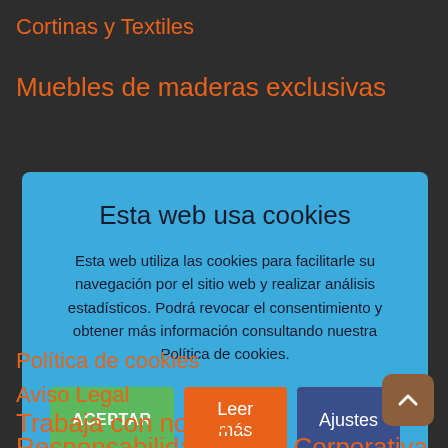Cortinas y Textiles
Muebles de maderas exclusivas
Esta web usa cookies
Esta web utiliza las cookies para facilitarle su navegación por el sitio web y realizar análisis estadísticos. Podrá revocar el consentimiento y obtener más información consultando nuestra Política de cookies.
ACEPTAR | Leer más | Ajustes
Política de cookies
Aviso Legal
Trabaja con nosotros
Responsabilidad Social Corporativa